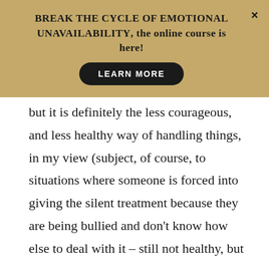BREAK THE CYCLE OF EMOTIONAL UNAVAILABILITY, the online course is here!
LEARN MORE
but it is definitely the less courageous, and less healthy way of handling things, in my view (subject, of course, to situations where someone is forced into giving the silent treatment because they are being bullied and don't know how else to deal with it – still not healthy, but